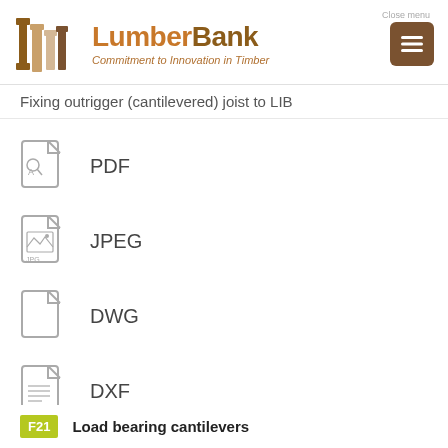LumberBank — Commitment to Innovation in Timber
Fixing outrigger (cantilevered) joist to LIB
PDF
JPEG
DWG
DXF
F21  Load bearing cantilevers